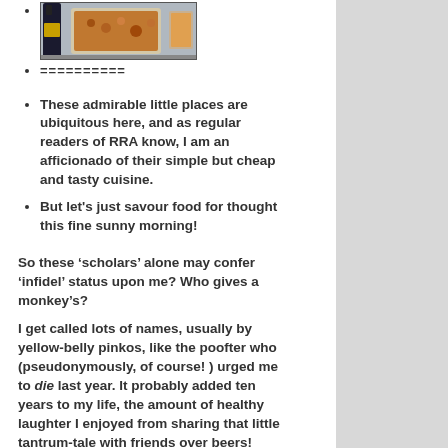[Figure (photo): Photo of food containers on a counter or shelf, appears to show prepared food items]
==========
These admirable little places are ubiquitous here, and as regular readers of RRA know, I am an afficionado of their simple but cheap and tasty cuisine.
But let's just savour food for thought this fine sunny morning!
So these ‘scholars’ alone may confer ‘infidel’ status upon me? Who gives a monkey’s?
I get called lots of names, usually by yellow-belly pinkos, like the poofter who (pseudonymously, of course! ) urged me to die last year. It probably added ten years to my life, the amount of healthy laughter I enjoyed from sharing that little tantrum-tale with friends over beers!
However, according to the JP,  the edict aka fatw+ is meant to prevent individu/s from easily